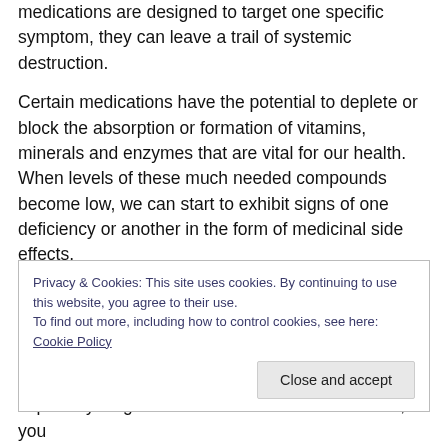medications are designed to target one specific symptom, they can leave a trail of systemic destruction.
Certain medications have the potential to deplete or block the absorption or formation of vitamins, minerals and enzymes that are vital for our health. When levels of these much needed compounds become low, we can start to exhibit signs of one deficiency or another in the form of medicinal side effects.
The body truly is a complex interwoven matrix that needs to be looked at as one, and not compartmentalized. It is
Privacy & Cookies: This site uses cookies. By continuing to use this website, you agree to their use.
To find out more, including how to control cookies, see here: Cookie Policy
especially long term or in combination with others, you